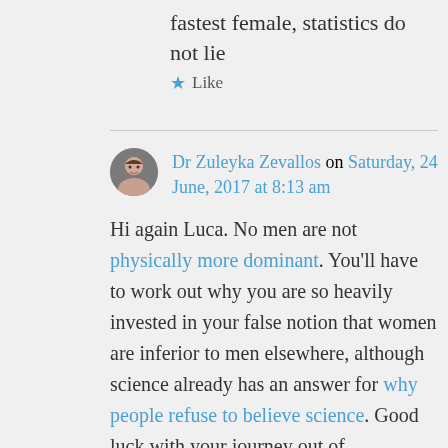fastest female, statistics do not lie
Like
Dr Zuleyka Zevallos on Saturday, 24 June, 2017 at 8:13 am
Hi again Luca. No men are not physically more dominant. You'll have to work out why you are so heavily invested in your false notion that women are inferior to men elsewhere, although science already has an answer for why people refuse to believe science. Good luck with your journey out of